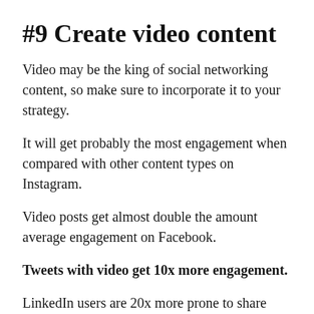#9 Create video content
Video may be the king of social networking content, so make sure to incorporate it to your strategy.
It will get probably the most engagement when compared with other content types on Instagram.
Video posts get almost double the amount average engagement on Facebook.
Tweets with video get 10x more engagement.
LinkedIn users are 20x more prone to share video than other content types.
Missoma, a web-based jewellery brand will get